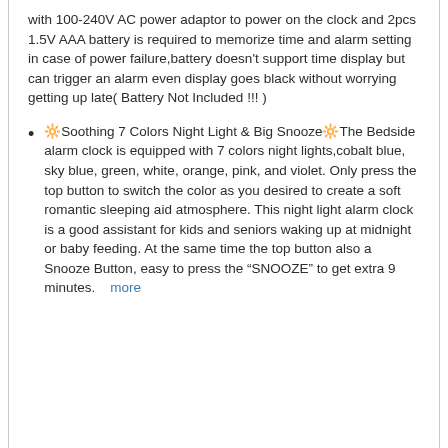with 100-240V AC power adaptor to power on the clock and 2pcs 1.5V AAA battery is required to memorize time and alarm setting in case of power failure,battery doesn't support time display but can trigger an alarm even display goes black without worrying getting up late( Battery Not Included !!! )
🔆Soothing 7 Colors Night Light & Big Snooze🔆The Bedside alarm clock is equipped with 7 colors night lights,cobalt blue, sky blue, green, white, orange, pink, and violet. Only press the top button to switch the color as you desired to create a soft romantic sleeping aid atmosphere. This night light alarm clock is a good assistant for kids and seniors waking up at midnight or baby feeding. At the same time the top button also a Snooze Button, easy to press the "SNOOZE" to get extra 9 minutes. more